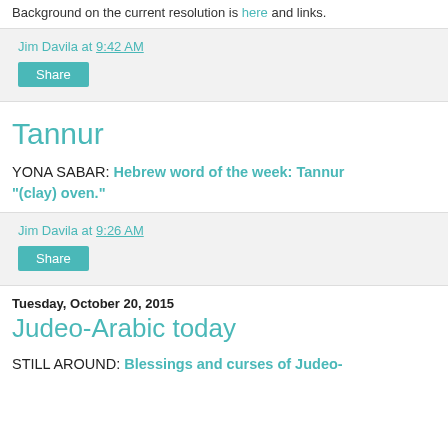Background on the current resolution is here and links.
Jim Davila at 9:42 AM
Share
Tannur
YONA SABAR: Hebrew word of the week: Tannur "(clay) oven."
Jim Davila at 9:26 AM
Share
Tuesday, October 20, 2015
Judeo-Arabic today
STILL AROUND: Blessings and curses of Judeo-